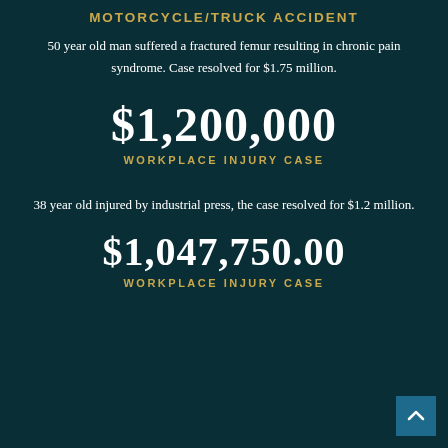MOTORCYCLE/TRUCK ACCIDENT
50 year old man suffered a fractured femur resulting in chronic pain syndrome. Case resolved for $1.75 million.
$1,200,000
WORKPLACE INJURY CASE
38 year old injured by industrial press, the case resolved for $1.2 million.
$1,047,750.00
WORKPLACE INJURY CASE